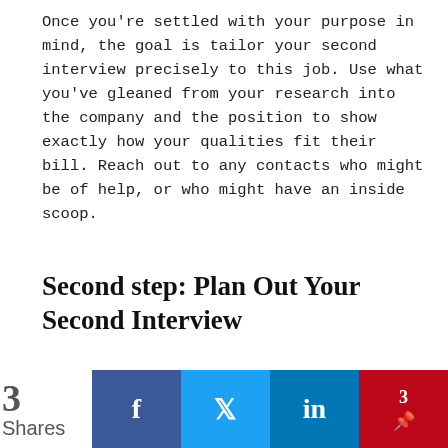Once you're settled with your purpose in mind, the goal is tailor your second interview precisely to this job. Use what you've gleaned from your research into the company and the position to show exactly how your qualities fit their bill. Reach out to any contacts who might be of help, or who might have an inside scoop.
Second step: Plan Out Your Second Interview
We use cookies to give you the best experience on our website. By clicking 'Accept' you are consenting to the use of this data as outlined in our Privacy and Cookie Policy.
Accept
3 Shares  f  🐦  in  3 Pinterest